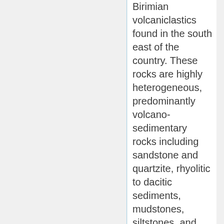Birimian volcaniclastics found in the south east of the country. These rocks are highly heterogeneous, predominantly volcano-sedimentary rocks including sandstone and quartzite, rhyolitic to dacitic sediments, mudstones, siltstones, and greywacke.